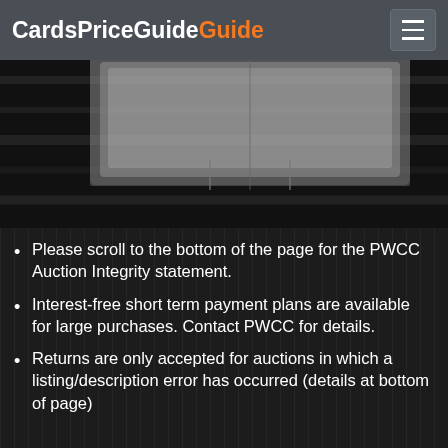CardsPriceGuide
[Figure (photo): Top portion of a graded trading card in a plastic case against a dark wood background]
Please scroll to the bottom of the page for the PWCC Auction Integrity statement.
Interest-free short term payment plans are available for large purchases. Contact PWCC for details.
Returns are only accepted for auctions in which a listing/description error has occurred (details at bottom of page)